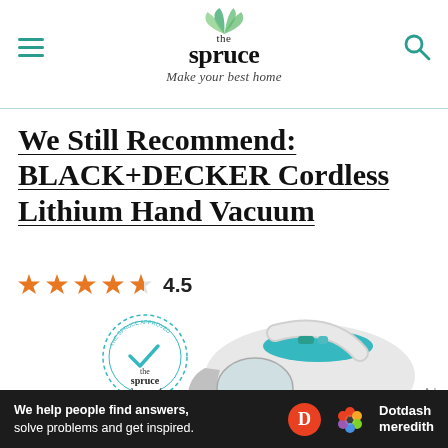the spruce — Make your best home
We Still Recommend: BLACK+DECKER Cordless Lithium Hand Vacuum
4.5
[Figure (photo): BLACK+DECKER Cordless Lithium Hand Vacuum in white and teal color, with The Spruce Approved circular badge overlay]
[Figure (infographic): Dotdash Meredith ad banner: We help people find answers, solve problems and get inspired.]